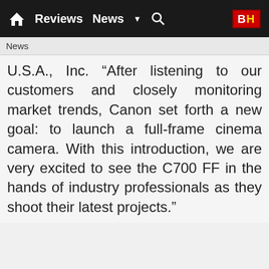Reviews  News  ▼  🔍  B|H
News
U.S.A., Inc. “After listening to our customers and closely monitoring market trends, Canon set forth a new goal: to launch a full-frame cinema camera. With this introduction, we are very excited to see the C700 FF in the hands of industry professionals as they shoot their latest projects.”